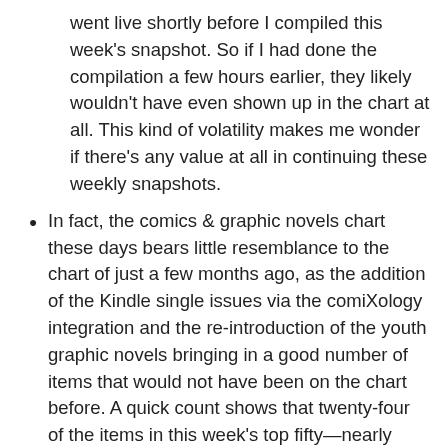went live shortly before I compiled this week's snapshot. So if I had done the compilation a few hours earlier, they likely wouldn't have even shown up in the chart at all. This kind of volatility makes me wonder if there's any value at all in continuing these weekly snapshots.
In fact, the comics & graphic novels chart these days bears little resemblance to the chart of just a few months ago, as the addition of the Kindle single issues via the comiXology integration and the re-introduction of the youth graphic novels bringing in a good number of items that would not have been on the chart before. A quick count shows that twenty-four of the items in this week's top fifty—nearly half!—would not have been included on the chart at the beginning of 2022.
Beyond all the Kindle single issues, a couple of print graphic novel pre-orders also debut on the chart this week:   the first volume of the manhua adaptation of Grandmaster of Demonic